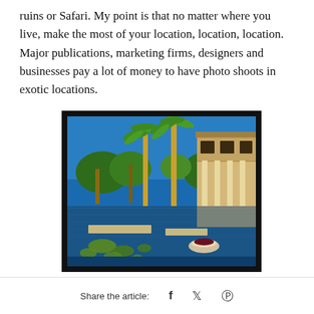ruins or Safari. My point is that no matter where you live, make the most of your location, location, location. Major publications, marketing firms, designers and businesses pay a lot of money to have photo shoots in exotic locations.
[Figure (photo): A luxury tropical villa with tall palm trees, white columns, and a reflective pond or water feature with lily pads and floating greenery in the foreground. Blue sky above.]
Share the article:    f    𝕐    𝑃